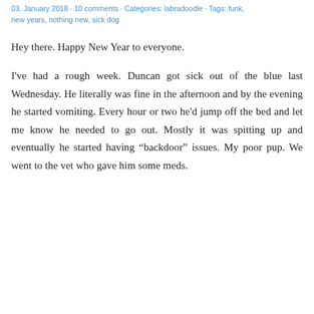03. January 2018 · 10 comments · Categories: labradoodle · Tags: funk, new years, nothing new, sick dog
Hey there. Happy New Year to everyone.
I've had a rough week. Duncan got sick out of the blue last Wednesday. He literally was fine in the afternoon and by the evening he started vomiting. Every hour or two he'd jump off the bed and let me know he needed to go out. Mostly it was spitting up and eventually he started having “backdoor” issues. My poor pup. We went to the vet who gave him some meds.